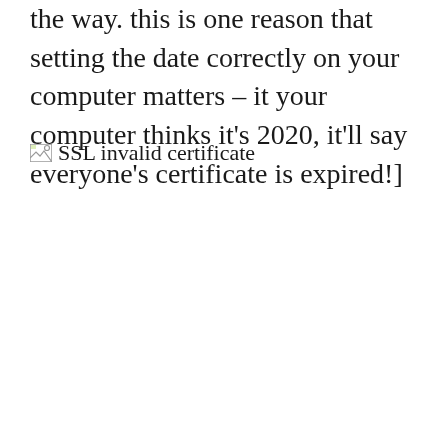the way. this is one reason that setting the date correctly on your computer matters – it your computer thinks it's 2020, it'll say everyone's certificate is expired!]
[Figure (screenshot): Broken image placeholder labeled 'SSL invalid certificate']